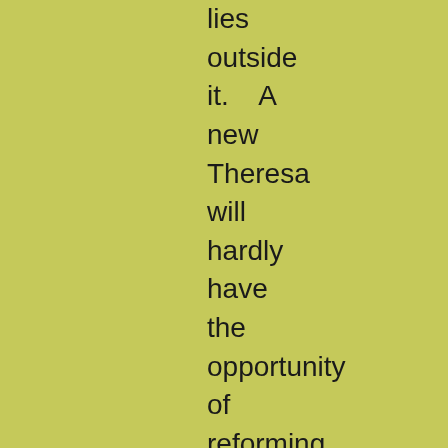lies outside it.    A new Theresa will hardly have the opportunity of reforming a conventual life, any more than  a new